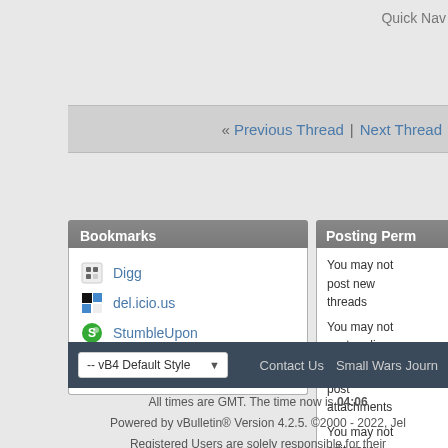Quick Nav
« Previous Thread | Next Thread »
Bookmarks
Digg
del.icio.us
StumbleUpon
Google
Posting Perm
You may not post new threads
You may not post replies
You may not post attachments
You may not edit your posts
-- vB4 Default Style   Contact Us   Small Wars Journ
All times are GMT. The time now is 04:06
Powered by vBulletin® Version 4.2.5. ©2000 - 2022, Jel
Registered Users are solely responsible for their Operated by, and site design © 2005-2009, Small W